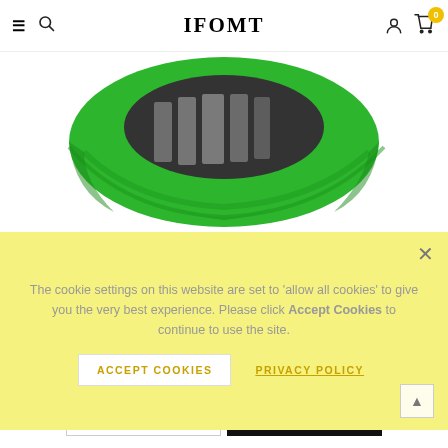IFOMT
[Figure (photo): Green hat/cap viewed from below showing brim and interior, on white background]
The cookie settings on this website are set to 'allow all cookies' to give you the very best experience. Please click Accept Cookies to continue to use the site.
ACCEPT COOKIES   PRIVACY POLICY
00D : 00H : 00M : 00S
frog 1 - $8.58
ADD TO CART